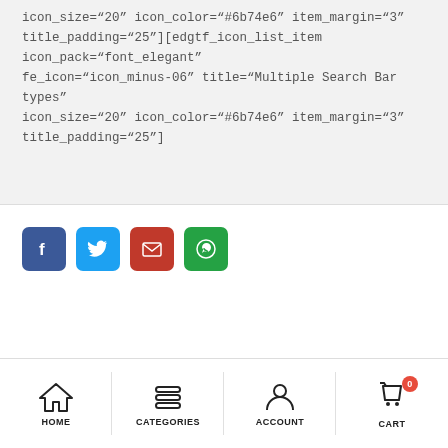icon_size="20" icon_color="#6b74e6" item_margin="3" title_padding="25"][edgtf_icon_list_item icon_pack="font_elegant" fe_icon="icon_minus-06" title="Multiple Search Bar types" icon_size="20" icon_color="#6b74e6" item_margin="3" title_padding="25"]
[Figure (infographic): Social share buttons: Facebook (blue), Twitter (light blue), Email (red), WhatsApp (green)]
HOME  CATEGORIES  ACCOUNT  CART